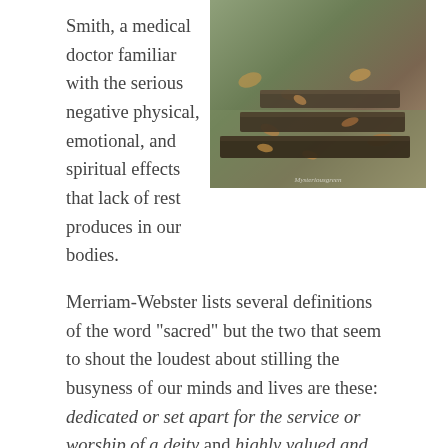Smith, a medical doctor familiar with the serious negative physical, emotional, and spiritual effects that lack of rest produces in our bodies.
[Figure (photo): Photograph of stone steps outdoors, covered with fallen leaves, leading upward through a wooded area. Watermark reads 'Mysteriousgreen' in the lower right corner.]
Merriam-Webster lists several definitions of the word "sacred" but the two that seem to shout the loudest about stilling the busyness of our minds and lives are these: dedicated or set apart for the service or worship of a deity and highly valued and important.
When I first picked up the book, I expected the typical clichéd responses about rest: you need eight